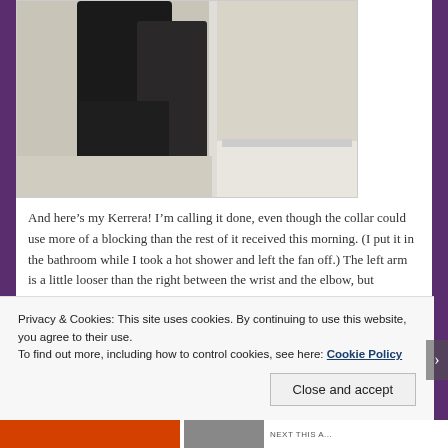[Figure (photo): Mirror bathroom selfie showing lower body in dark jeans/leggings, bare feet, taken in a bathroom with white tile/walls.]
And here’s my Kerrera! I’m calling it done, even though the collar could use more of a blocking than the rest of it received this morning. (I put it in the bathroom while I took a hot shower and left the fan off.) The left arm is a little looser than the right between the wrist and the elbow, but
Privacy & Cookies: This site uses cookies. By continuing to use this website, you agree to their use.
To find out more, including how to control cookies, see here: Cookie Policy
Close and accept